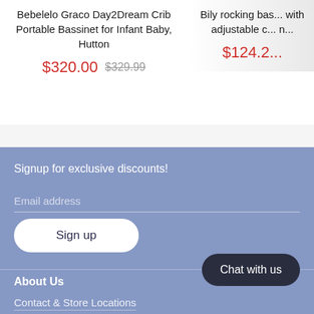Bebelelo Graco Day2Dream Crib Portable Bassinet for Infant Baby, Hutton
$320.00 $329.99
Bily rocking bas... with adjustable c... n...
$124.2...
Signup for exclusive discounts!
Email address
Sign up
Chat with us
About Us
Contact & Store Locations